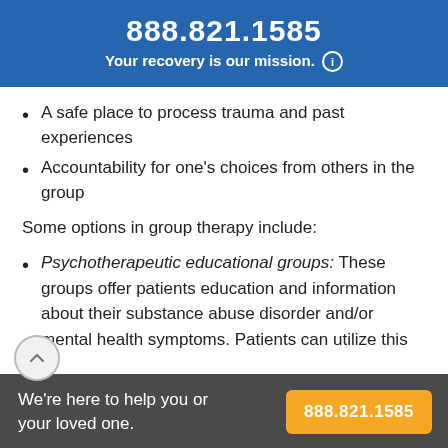888.821.1585
Your recovery is our mission.
A safe place to process trauma and past experiences
Accountability for one's choices from others in the group
Some options in group therapy include:
Psychotherapeutic educational groups: These groups offer patients education and information about their substance abuse disorder and/or mental health symptoms. Patients can utilize this
We're here to help you or your loved one.
888.821.1585